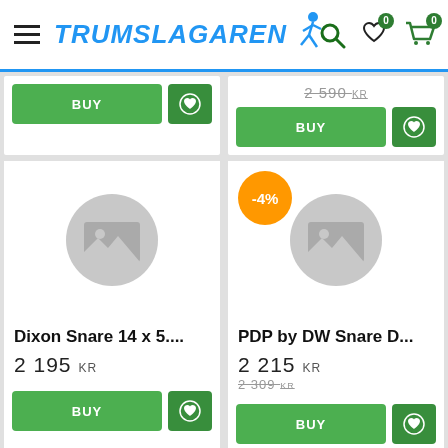TRUMSLAGAREN
[Figure (screenshot): Top partial product cards showing BUY buttons and strikethrough price 2 590 KR on right card]
[Figure (photo): Product card: Dixon Snare 14 x 5.... priced at 2 195 KR with placeholder image]
[Figure (photo): Product card: PDP by DW Snare D... priced at 2 215 KR (was 2 309 KR) with -4% discount badge and placeholder image]